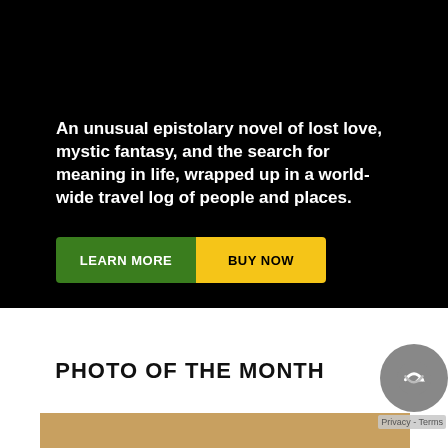[Figure (illustration): Black banner background with promotional text and two buttons]
An unusual epistolary novel of lost love, mystic fantasy, and the search for meaning in life, wrapped up in a world-wide travel log of people and places.
LEARN MORE
BUY NOW
PHOTO OF THE MONTH
[Figure (photo): Partial photo strip at bottom of page]
[Figure (logo): reCAPTCHA badge with arrow icon]
Privacy - Terms